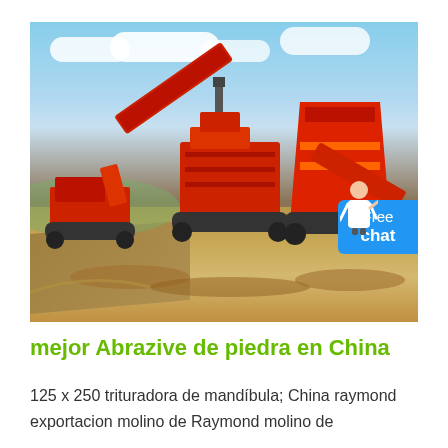[Figure (photo): Large red mobile crushing and screening machinery equipment on a dirt construction site with blue sky and clouds in the background. Multiple units of heavy machinery with conveyor belts are visible. A 'Free chat' blue button overlay is in the upper right corner with a person icon.]
mejor Abrazive de piedra en China
125 x 250 trituradora de mandíbula; China raymond exportacion molino de Raymond molino de